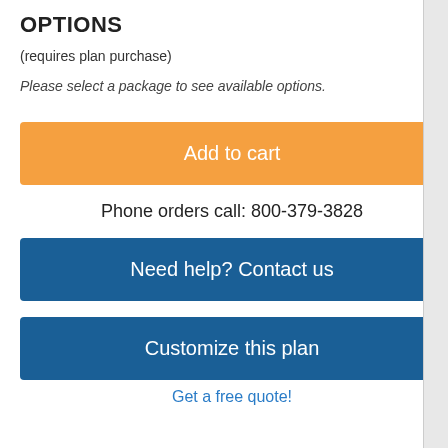OPTIONS
(requires plan purchase)
Please select a package to see available options.
Add to cart
Phone orders call: 800-379-3828
Need help? Contact us
Customize this plan
Get a free quote!